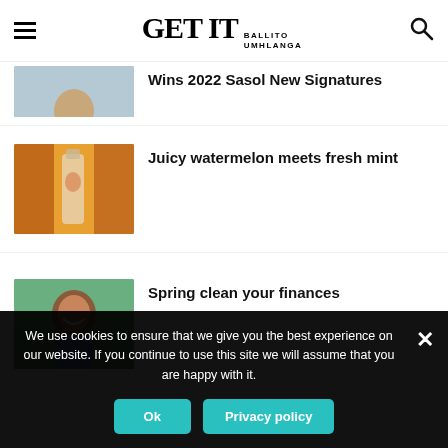GET IT BALLITO UMHLANGA
Wins 2022 Sasol New Signatures
Juicy watermelon meets fresh mint
Spring clean your finances
We use cookies to ensure that we give you the best experience on our website. If you continue to use this site we will assume that you are happy with it.